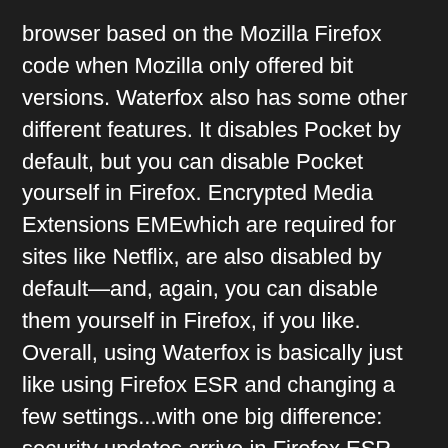browser based on the Mozilla Firefox code when Mozilla only offered bit versions. Waterfox also has some other different features. It disables Pocket by default, but you can disable Pocket yourself in Firefox. Encrypted Media Extensions EMEwhich are required for sites like Netflix, are also disabled by default—and, again, you can disable them yourself in Firefox, if you like.
Overall, using Waterfox is basically just like using Firefox ESR and changing a few settings...with one big difference: security updates arrive in Firefox ESR much faster than they do in Waterfox.
Whenever Mozilla releases security updates for Firefox ESR, the Waterfox developers have to integrate those updates into Waterfox before delivering them to how to activation windows 10. Three days later, the Waterfox